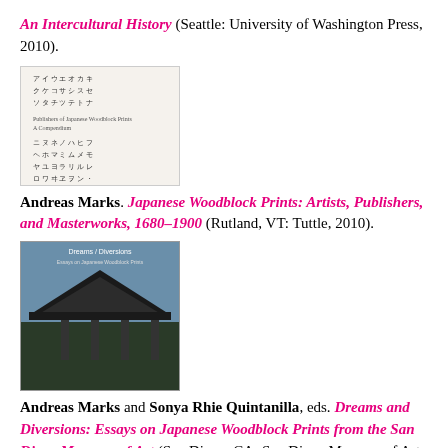An Intercultural History (Seattle: University of Washington Press, 2010).
[Figure (photo): Book cover thumbnail for a Japanese woodblock prints compendium, showing a grid of Japanese characters on a light background.]
Andreas Marks. Japanese Woodblock Prints: Artists, Publishers, and Masterworks, 1680–1900 (Rutland, VT: Tuttle, 2010).
[Figure (photo): Book cover thumbnail for Dreams and Diversions, showing a Japanese pavilion/temple roof against a blue sky.]
Andreas Marks and Sonya Rhie Quintanilla, eds. Dreams and Diversions: Essays on Japanese Woodblock Prints from the San Diego Museum of Art (San Diego, CA: San Diego Museum of Art, 2010).
Filed under: Uncategorized — Tags: Books